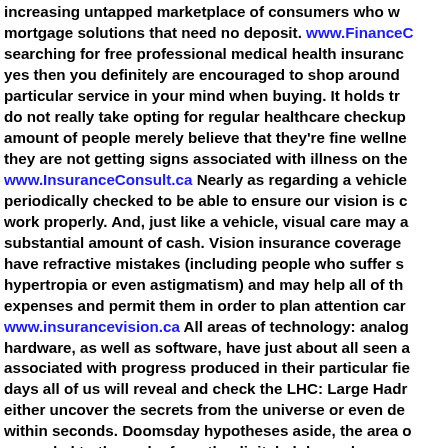increasing untapped marketplace of consumers who w... mortgage solutions that need no deposit. www.FinanceC... searching for free professional medical health insuranc... yes then you definitely are encouraged to shop around... particular service in your mind when buying. It holds tr... do not really take opting for regular healthcare checkup... amount of people merely believe that they're fine wellne... they are not getting signs associated with illness on the... www.InsuranceConsult.ca Nearly as regarding a vehicle... periodically checked to be able to ensure our vision is c... work properly. And, just like a vehicle, visual care may a... substantial amount of cash. Vision insurance coverage... have refractive mistakes (including people who suffer s... hypertropia or even astigmatism) and may help all of th... expenses and permit them in order to plan attention car... www.insurancevision.ca All areas of technology: analog... hardware, as well as software, have just about all seen a... associated with progress produced in their particular fie... days all of us will reveal and check the LHC: Large Hadr... either uncover the secrets from the universe or even de... within seconds. Doomsday hypotheses aside, the area o... expanded to the realm from the digital globe and numer... coding, and visible design applications. www.Technolog... Every single day the smartphone market offers somethi... say, a new comer to report, or even more information in...